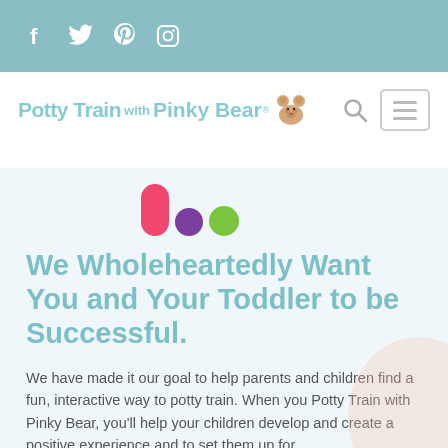Social media icons: Facebook, Twitter, Pinterest, Instagram
[Figure (logo): Potty Train with Pinky Bear logo with bear icon, search icon, and hamburger menu button]
[Figure (illustration): Three colorful dots/pills: pink tall pill, purple circle, green circle]
We Wholeheartedly Want You and Your Toddler to be Successful.
We have made it our goal to help parents and children find a fun, interactive way to potty train. When you Potty Train with Pinky Bear, you'll help your children develop and create a positive experience and to set them up for